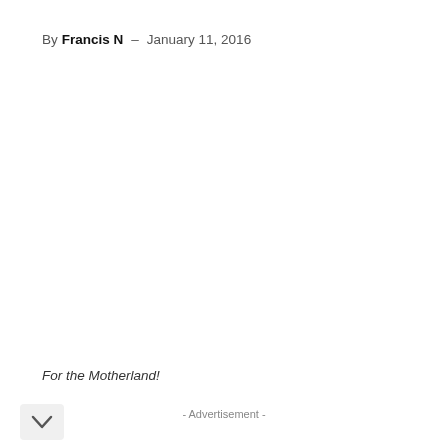By Francis N  –  January 11, 2016
For the Motherland!
- Advertisement -